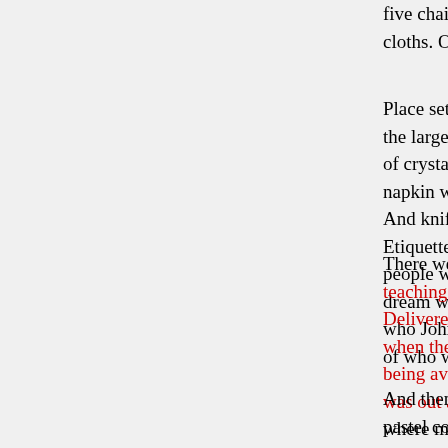five chairs to a table. The chairs were covered with cloths. On the back was a large white satin bo
Place settings were of the finest china in white, the larger plate. There were two stemware glasses of crystal with the gold rim on the edge. There napkin was the silverware, that was real silver. And knife, teaspoon and soup spoon on the right. Etiquette and said this is in complete agreement people with spiritual food is coming into proper dream who are preparing to feed the people from who John said walked with Jesus, the Man-child, of who were to be the Church. The Local body
There were quite a few UBM people scurring teaching books are almost prepared to feed the Delivered From Dark Powers is being complete when the Man-child was here on the throne. being available to the people, the book was complete was out and the Man-child was on the throne. where men were setting up speakers and microphones that swung open. I walked through them and t
And then I saw Merlene. She was in a beautiful pastel colors. All the women had on beautiful